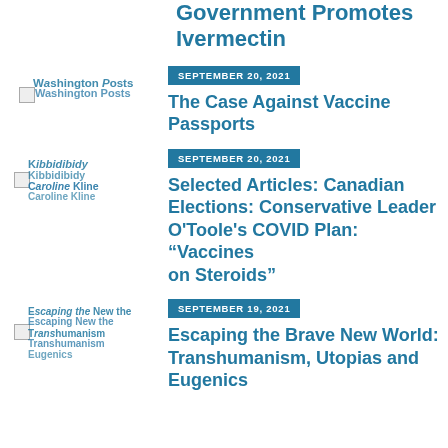Government Promotes Ivermectin
[Figure (logo): Washington Posts logo (overlapping/distorted)]
SEPTEMBER 20, 2021
The Case Against Vaccine Passports
[Figure (logo): Kibbidibidy Caroline Kline logo (overlapping/distorted)]
SEPTEMBER 20, 2021
Selected Articles: Canadian Elections: Conservative Leader O'Toole's COVID Plan: “Vaccines on Steroids”
[Figure (logo): Escaping the Brave New World / Transhumanism logo (overlapping/distorted)]
SEPTEMBER 19, 2021
Escaping the Brave New World: Transhumanism, Utopias and Eugenics